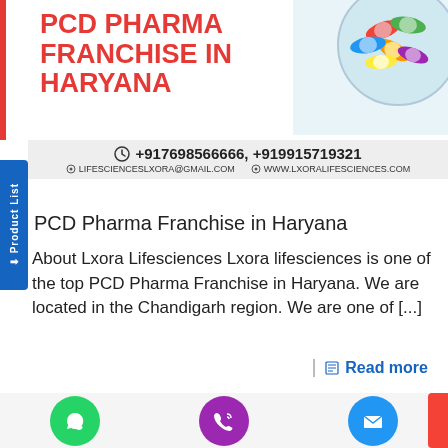PCD PHARMA FRANCHISE IN HARYANA
+917698566666, +919915719321
LIFESCIENCESLXORA@GMAIL.COM   WWW.LXORALIFESCIENCES.COM
PCD Pharma Franchise in Haryana
About Lxora Lifesciences Lxora lifesciences is one of the top PCD Pharma Franchise in Haryana. We are located in the Chandigarh region. We are one of [...]
Read more
[Figure (photo): Colorful pharmaceutical capsules and tablets arranged in a circular composition on a light blue background]
[Figure (photo): Third-Party Herbal Medicine banner with Lxora logo, green background on left and herbal/natural product ingredients on right]
WhatsApp, Call, and Email contact icons at the bottom